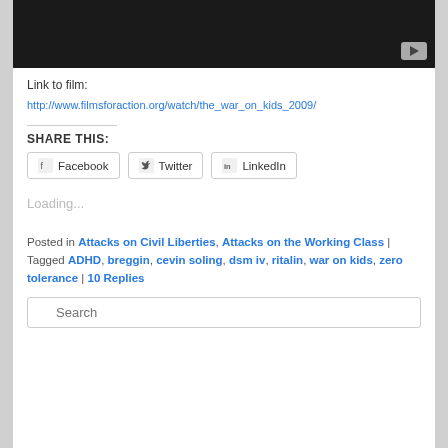[Figure (screenshot): Video thumbnail with dark/black background and YouTube play button in bottom right corner]
Link to film:
http://www.filmsforaction.org/watch/the_war_on_kids_2009/
SHARE THIS:
Facebook  Twitter  LinkedIn
Loading...
Posted in Attacks on Civil Liberties, Attacks on the Working Class | Tagged ADHD, breggin, cevin soling, dsm iv, ritalin, war on kids, zero tolerance | 10 Replies